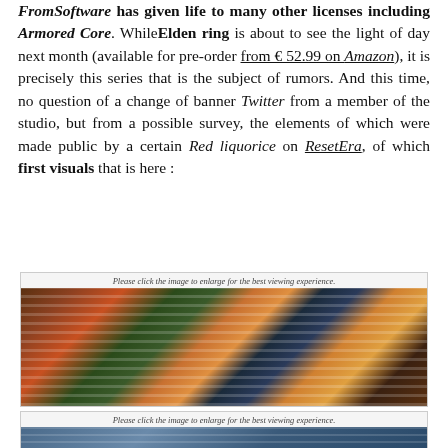FromSoftware has given life to many other licenses including Armored Core. While Elden ring is about to see the light of day next month (available for pre-order from € 52.99 on Amazon), it is precisely this series that is the subject of rumors. And this time, no question of a change of banner Twitter from a member of the studio, but from a possible survey, the elements of which were made public by a certain Red liquorice on ResetEra, of which first visuals that is here :
[Figure (photo): Screenshot or promotional image overlaid with horizontal scan lines, showing colorful action game visuals with fire and explosion effects. Caption reads: Please click the image to enlarge for the best viewing experience.]
[Figure (photo): Second screenshot or promotional image, partially visible, also with horizontal scan lines overlay. Caption reads: Please click the image to enlarge for the best viewing experience.]